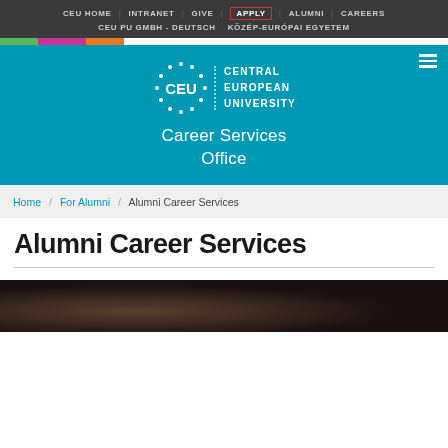CEU HOME | INTRANET | GIVE | APPLY | ALUMNI | CAREERS | CEU PU GMBH - DEUTSCH | KÖZÉP-EURÓPAI EGYETEM
[Figure (logo): CEU Central European University logo with circular dot emblem and text]
Career Services Office
Home / For Alumni / Alumni Career Services
Alumni Career Services
[Figure (photo): Partial photo of person, dark background, bottom of page]